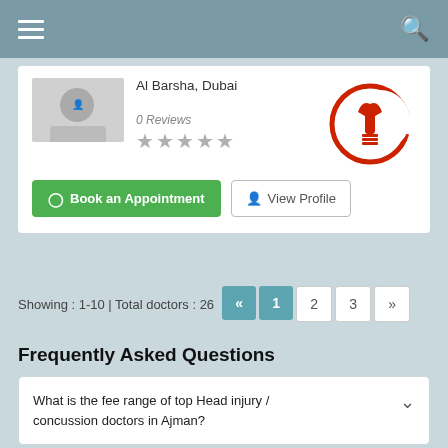Navigation bar with hamburger menu and search icon
Al Barsha, Dubai
0 Reviews
[Figure (logo): Red crescent and torch medical logo]
Book an Appointment
View Profile
Showing : 1-10 | Total doctors : 26
Frequently Asked Questions
What is the fee range of top Head injury / concussion doctors in Ajman?
Are there any additional charges when you book an